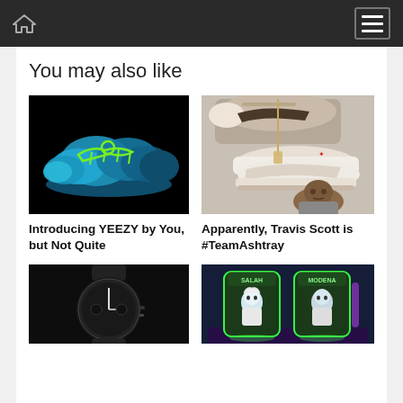Home | Menu
You may also like
[Figure (photo): Blue Yeezy 500 sneaker on black background with green laces]
Introducing YEEZY by You, but Not Quite
[Figure (photo): Travis Scott Nike/Jordan sneakers with person looking up, #TeamAshtray]
Apparently, Travis Scott is #TeamAshtray
[Figure (photo): Dark luxury watch on black background]
[Figure (photo): Rick and Morty style capsule pods with Salah and Modena labels, neon green glow]